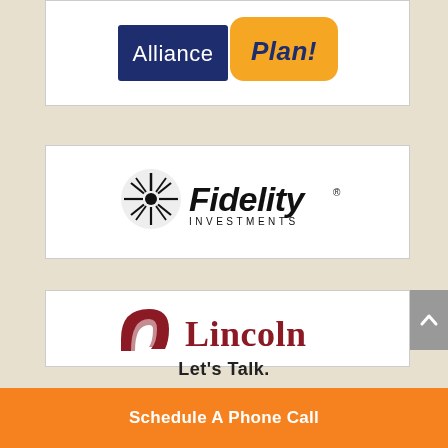[Figure (logo): Alliance Plan! logo — dark navy blue rectangle with 'Alliance' in white text, adjacent orange rounded rectangle with 'Plan!' in dark blue italic bold text]
[Figure (logo): Fidelity Investments logo — black starburst/fan icon on left with 'Fidelity' in large bold black italic text and 'INVESTMENTS' in small caps below]
[Figure (logo): Lincoln logo — dark red arch/doorway icon on left with 'Lincoln' in large dark red serif text]
Let's Talk.
Schedule A Phone Call